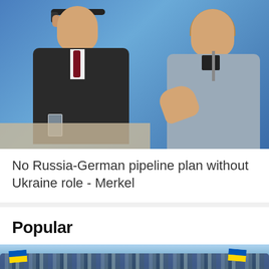[Figure (photo): Press conference photo showing two leaders: a man in dark suit with earpiece on the left, and a woman in grey jacket gesturing with her hand on the right, blue background]
No Russia-German pipeline plan without Ukraine role - Merkel
Popular
[Figure (photo): Crowd of people at a rally or demonstration holding large Ukrainian blue and yellow flags]